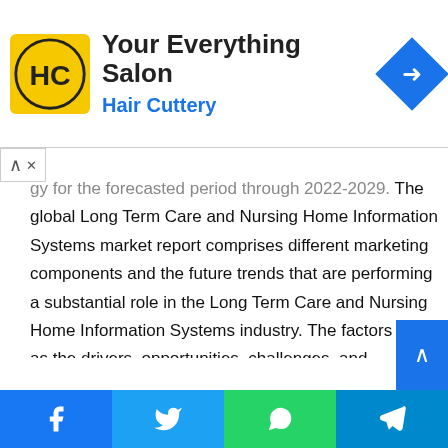[Figure (other): Hair Cuttery advertisement banner with logo, 'Your Everything Salon' headline, and navigation icon]
...gy for the forecasted period through 2022-2029. The global Long Term Care and Nursing Home Information Systems market report comprises different marketing components and the future trends that are performing a substantial role in the Long Term Care and Nursing Home Information Systems industry. The factors such as the drivers, opportunities, challenges, and restraints will impact the Long Term Care and Nursing Home Information Systems market growth across the world. Moreover, the Long Term Care and Nursing Home Information Systems market report gives a deep outlook on the implementation of the Long Term Care and Nursing Home Information Systems market in terms of revenue throughout the projected period.
[Figure (other): Social share bar with Facebook, Twitter, WhatsApp, and Telegram buttons]